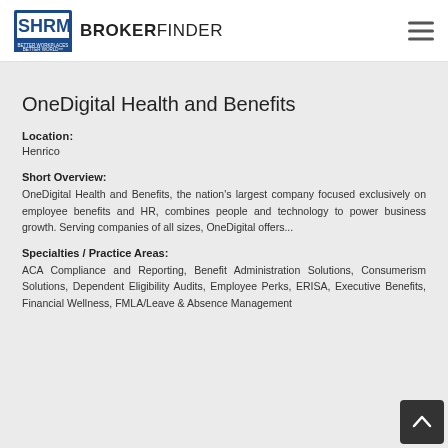SHRM BROKERFINDER
OneDigital Health and Benefits
Location:
Henrico
Short Overview:
OneDigital Health and Benefits, the nation's largest company focused exclusively on employee benefits and HR, combines people and technology to power business growth. Serving companies of all sizes, OneDigital offers...
Specialties / Practice Areas:
ACA Compliance and Reporting, Benefit Administration Solutions, Consumerism Solutions, Dependent Eligibility Audits, Employee Perks, ERISA, Executive Benefits, Financial Wellness, FMLA/Leave & Absence Management